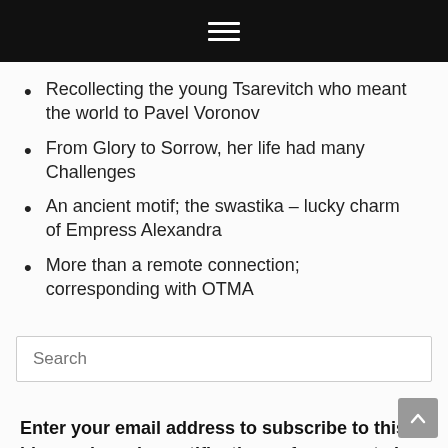≡
Recollecting the young Tsarevitch who meant the world to Pavel Voronov
From Glory to Sorrow, her life had many Challenges
An ancient motif; the swastika – lucky charm of Empress Alexandra
More than a remote connection; corresponding with OTMA
Search
Enter your email address to subscribe to this blog and receive notifications of new posts by email.